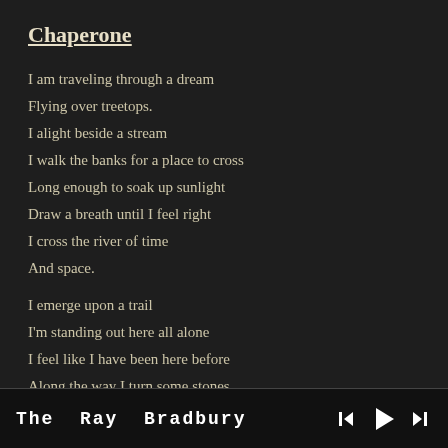Chaperone
I am traveling through a dream
Flying over treetops.
I alight beside a stream
I walk the banks for a place to cross
Long enough to soak up sunlight
Draw a breath until I feel right
I cross the river of time
And space.
I emerge upon a trail
I'm standing out here all alone
I feel like I have been here before
Along the way I turn some stones
A forgotten dream, a story untold
A fallen star that has grown cold
The Ray Bradbury